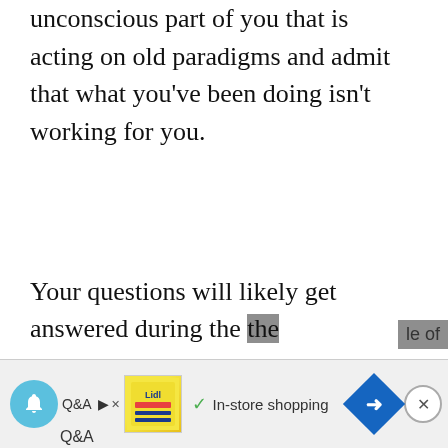unconscious part of you that is acting on old paradigms and admit that what you've been doing isn't working for you.
Your questions will likely get answered during the
[Figure (screenshot): Advertisement bar at bottom of page showing a notification bell icon, play button, Lidl advertisement image, checkmark with 'In-store shopping' text, navigation arrow button, and close button. Partially visible page navigation text 'le of' is also shown.]